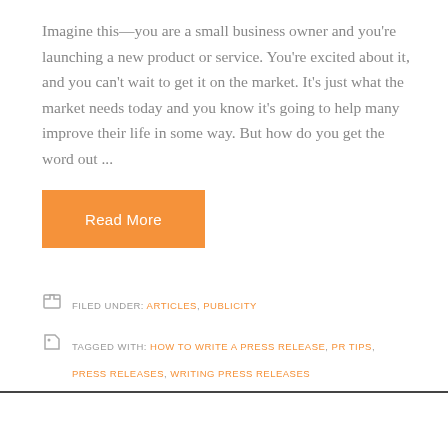Imagine this—you are a small business owner and you're launching a new product or service. You're excited about it, and you can't wait to get it on the market. It's just what the market needs today and you know it's going to help many improve their life in some way. But how do you get the word out ...
Read More
FILED UNDER: ARTICLES, PUBLICITY
TAGGED WITH: HOW TO WRITE A PRESS RELEASE, PR TIPS, PRESS RELEASES, WRITING PRESS RELEASES